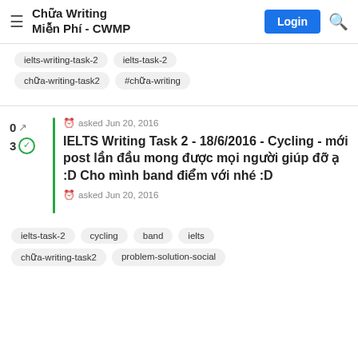Chữa Writing Miễn Phí - CWMP
ielts-writing-task-2
ielts-task-2
chữa-writing-task2
#chữa-writing
asked Jun 20, 2016
IELTS Writing Task 2 - 18/6/2016 - Cycling - mới post lần đầu mong được mọi người giúp đỡ ạ :D Cho mình band điểm với nhé :D
asked Jun 20, 2016
ielts-task-2
cycling
band
ielts
chữa-writing-task2
problem-solution-social